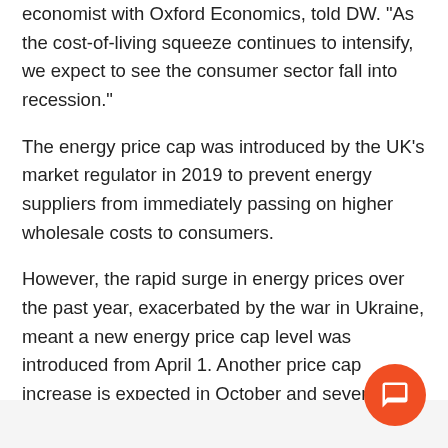economist with Oxford Economics, told DW. "As the cost-of-living squeeze continues to intensify, we expect to see the consumer sector fall into recession."
The energy price cap was introduced by the UK's market regulator in 2019 to prevent energy suppliers from immediately passing on higher wholesale costs to consumers.
However, the rapid surge in energy prices over the past year, exacerbated by the war in Ukraine, meant a new energy price cap level was introduced from April 1. Another price cap increase is expected in October and several analysts predict that that increase will result in energy prices doubling in the space o…